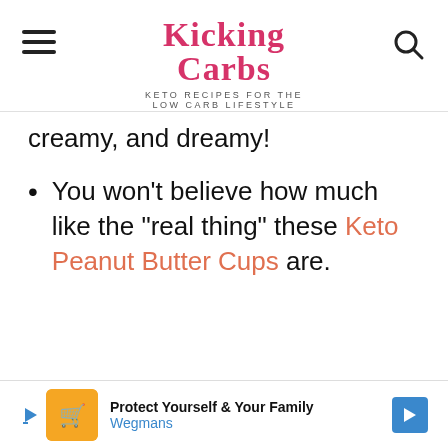Kicking Carbs — KETO RECIPES FOR THE LOW CARB LIFESTYLE
creamy, and dreamy!
You won't believe how much like the "real thing" these Keto Peanut Butter Cups are.
[Figure (screenshot): Advertisement banner: Wegmans — Protect Yourself & Your Family]